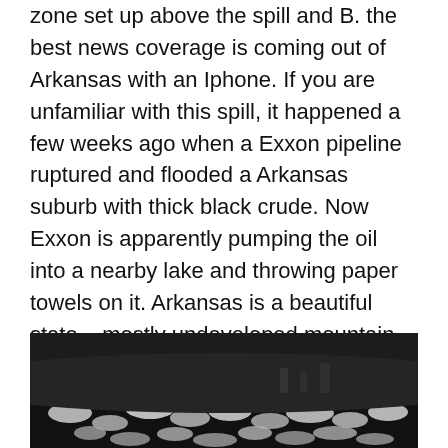zone set up above the spill and B. the best news coverage is coming out of Arkansas with an Iphone. If you are unfamiliar with this spill, it happened a few weeks ago when a Exxon pipeline ruptured and flooded a Arkansas suburb with thick black crude. Now Exxon is apparently pumping the oil into a nearby lake and throwing paper towels on it. Arkansas is a beautiful state – mostly undeveloped mountain land and it is sad to see this happen anywhere, but especially in one of the purest states left in the USA. The idea that they want to build a larger pipeline (Keystone XL) to go through the Dakotas is shocking.
[Figure (photo): Black and white photograph showing what appears to be paper towels or debris scattered on dark water or ground, related to the Exxon oil spill cleanup.]